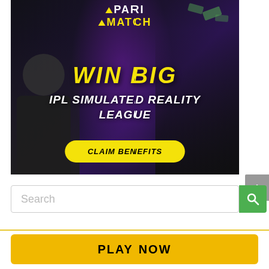[Figure (illustration): Parimatch sports betting advertisement banner showing three people (man in black shirt, woman in sari, cricket batsman) with text 'WIN BIG - IPL SIMULATED REALITY LEAGUE' and a yellow 'CLAIM BENEFITS' button on dark purple/black background]
Search
[Figure (other): Green search button with magnifying glass icon]
[Figure (other): Grey scroll-to-top button with upward arrow]
[Figure (other): Yellow 'PLAY NOW' button]